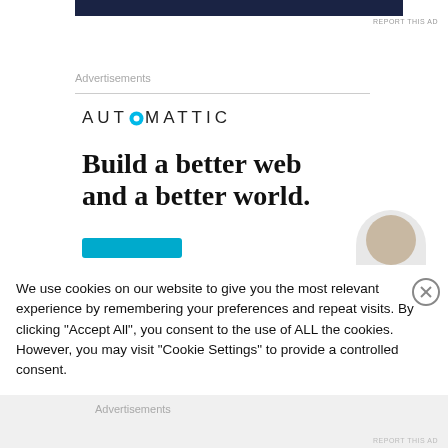[Figure (other): Dark navy blue horizontal banner advertisement bar at top]
REPORT THIS AD
Advertisements
[Figure (other): Automattic advertisement with logo and headline 'Build a better web and a better world.' with a blue CTA button and a person wearing a mask in the corner]
We use cookies on our website to give you the most relevant experience by remembering your preferences and repeat visits. By clicking “Accept All”, you consent to the use of ALL the cookies. However, you may visit "Cookie Settings" to provide a controlled consent.
Advertisements